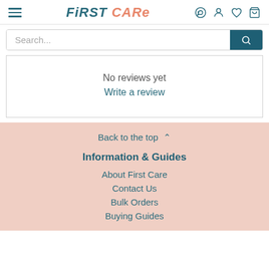FIRST CARE
Search...
No reviews yet
Write a review
Back to the top ^
Information & Guides
About First Care
Contact Us
Bulk Orders
Buying Guides